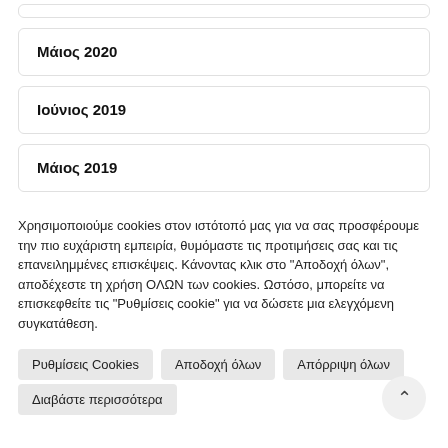Μάιος 2020
Ιούνιος 2019
Μάιος 2019
Χρησιμοποιούμε cookies στον ιστότοπό μας για να σας προσφέρουμε την πιο ευχάριστη εμπειρία, θυμόμαστε τις προτιμήσεις σας και τις επανειλημμένες επισκέψεις. Κάνοντας κλικ στο "Αποδοχή όλων", αποδέχεστε τη χρήση ΟΛΩΝ των cookies. Ωστόσο, μπορείτε να επισκεφθείτε τις "Ρυθμίσεις cookie" για να δώσετε μια ελεγχόμενη συγκατάθεση.
Ρυθμίσεις Cookies
Αποδοχή όλων
Απόρριψη όλων
Διαβάστε περισσότερα